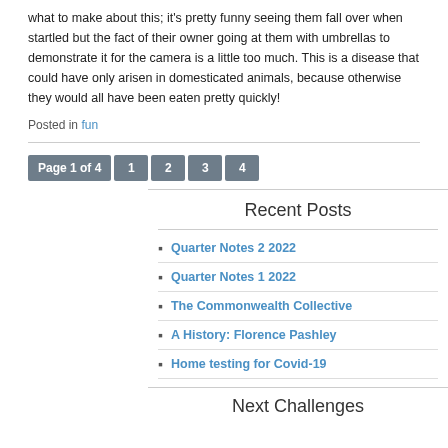what to make about this; it's pretty funny seeing them fall over when startled but the fact of their owner going at them with umbrellas to demonstrate it for the camera is a little too much. This is a disease that could have only arisen in domesticated animals, because otherwise they would all have been eaten pretty quickly!
Posted in fun
Page 1 of 4  1  2  3  4
Recent Posts
Quarter Notes 2 2022
Quarter Notes 1 2022
The Commonwealth Collective
A History: Florence Pashley
Home testing for Covid-19
Next Challenges